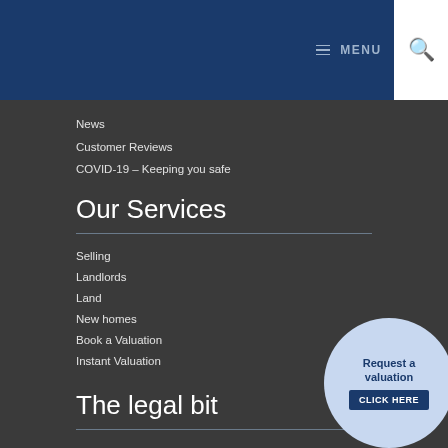MENU
News
Customer Reviews
COVID-19 – Keeping you safe
Our Services
Selling
Landlords
Land
New homes
Book a Valuation
Instant Valuation
The legal bit
[Figure (infographic): Round call-to-action button with light blue background, text 'Request a valuation' and dark blue button 'CLICK HERE']
Cookies
Privacy Policy